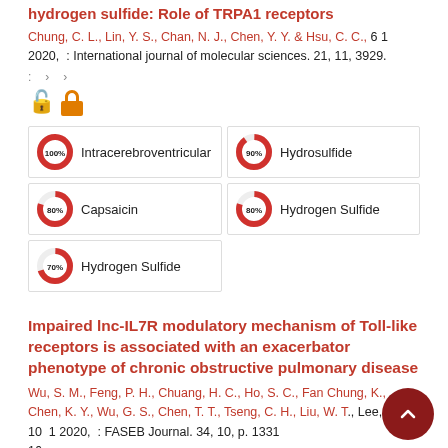hydrogen sulfide: Role of TRPA1 receptors
Chung, C. L., Lin, Y. S., Chan, N. J., Chen, Y. Y. & Hsu, C. C., 6 1 2020, : International journal of molecular sciences. 21, 11, 3929.
Open access symbol
[Figure (infographic): Keyword relevance donut chart grid: Intracerebroventricular 100%, Hydrosulfide 90%, Capsaicin 80%, Hydrogen Sulfide 80%, Hydrogen Sulfide 70%]
Impaired lnc-IL7R modulatory mechanism of Toll-like receptors is associated with an exacerbator phenotype of chronic obstructive pulmonary disease
Wu, S. M., Feng, P. H., Chuang, H. C., Ho, S. C., Fan Chung, K., Chen, K. Y., Wu, G. S., Chen, T. T., Tseng, C. H., Liu, W. T., Lee, K. Y., 10 1 2020, : FASEB Journal. 34, 10, p. 1331 16 p.